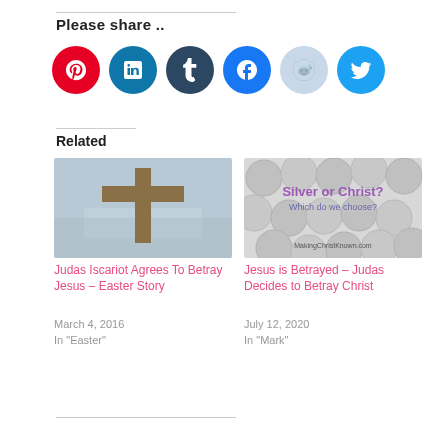Please share ..
[Figure (other): Social share buttons: Pinterest (red), LinkedIn (blue), Tumblr (dark navy), Facebook (blue), Reddit (light blue), Twitter (cyan)]
Related
[Figure (photo): Photo of a wooden cross against a grey sky]
Judas Iscariot Agrees To Betray Jesus – Easter Story
March 4, 2016
In "Easter"
[Figure (photo): Image with silver coins and text: Silver or Christ? Which do we choose? MakingChristKnown.com]
Jesus is Betrayed – Judas Decides to Betray Christ
July 12, 2020
In "Mark"